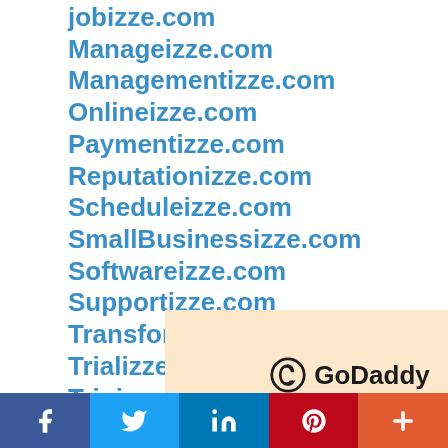jobizze.com
Manageizze.com
Managementizze.com
Onlineizze.com
Paymentizze.com
Reputationizze.com
Scheduleizze.com
SmallBusinessizze.com
Softwareizze.com
Supportizze.com
Transformizze.com
Trializze.com
Tripizze.com
Websiteizze.com
[Figure (logo): GoDaddy logo on a peach/cream background, with a pink/red block to the right]
[Figure (infographic): Social sharing bar with Facebook, Twitter, LinkedIn, Pinterest, and More buttons]